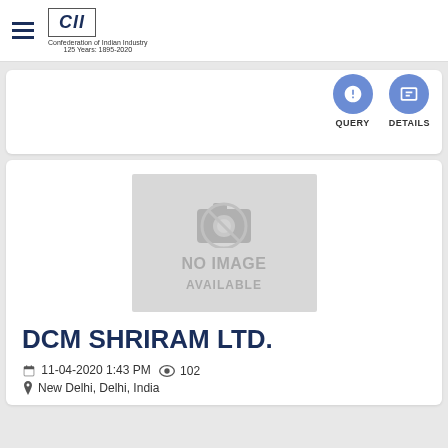CII - Confederation of Indian Industry - 125 Years: 1895-2020
[Figure (screenshot): Partial card with QUERY and DETAILS action buttons (blue circles)]
[Figure (photo): No image available placeholder with camera icon]
DCM SHRIRAM LTD.
11-04-2020 1:43 PM  102
New Delhi, Delhi, India